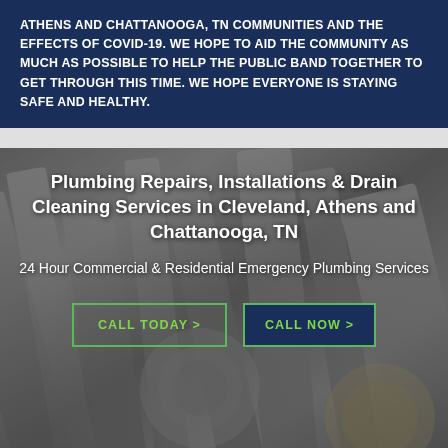ATHENS AND CHATTANOOGA, TN COMMUNITIES AND THE EFFECTS OF COVID-19. WE HOPE TO AID THE COMMUNITY AS MUCH AS POSSIBLE TO HELP THE PUBLIC BAND TOGETHER TO GET THROUGH THIS TIME. WE HOPE EVERYONE IS STAYING SAFE AND HEALTHY.
[Figure (photo): Background photo of plumbing fittings, hoses, and metal connectors in grayscale with overlaid text and call-to-action buttons]
Plumbing Repairs, Installations & Drain Cleaning Services in Cleveland, Athens and Chattanooga, TN
24 Hour Commercial & Residential Emergency Plumbing Services
CALL TODAY >
CALL NOW >